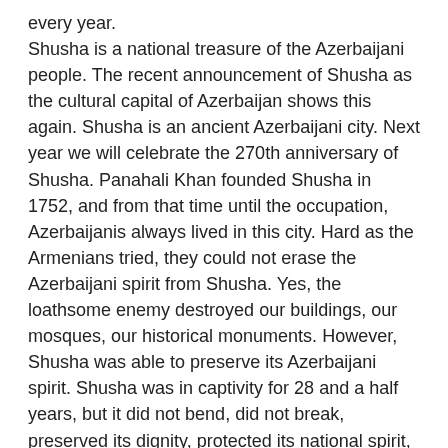every year. Shusha is a national treasure of the Azerbaijani people. The recent announcement of Shusha as the cultural capital of Azerbaijan shows this again. Shusha is an ancient Azerbaijani city. Next year we will celebrate the 270th anniversary of Shusha. Panahali Khan founded Shusha in 1752, and from that time until the occupation, Azerbaijanis always lived in this city. Hard as the Armenians tried, they could not erase the Azerbaijani spirit from Shusha. Yes, the loathsome enemy destroyed our buildings, our mosques, our historical monuments. However, Shusha was able to preserve its Azerbaijani spirit. Shusha was in captivity for 28 and a half years, but it did not bend, did not break, preserved its dignity, protected its national spirit, protected the spirit of Azerbaijan. Dear friends, I am sure that many of you are here for the first time since the occupation. You can see and feel that. This is my third time in Shusha, and every time I come